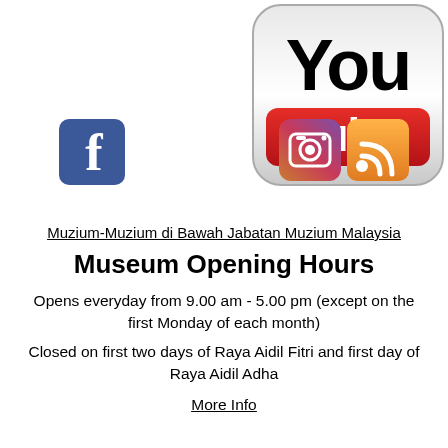[Figure (logo): Social media icons: YouTube logo (large, center), Facebook icon (left), Instagram icon (right), RSS feed icon (right)]
Muzium-Muzium di Bawah Jabatan Muzium Malaysia
Museum Opening Hours
Opens everyday from 9.00 am - 5.00 pm (except on the first Monday of each month)
Closed on first two days of Raya Aidil Fitri and first day of Raya Aidil Adha
More Info